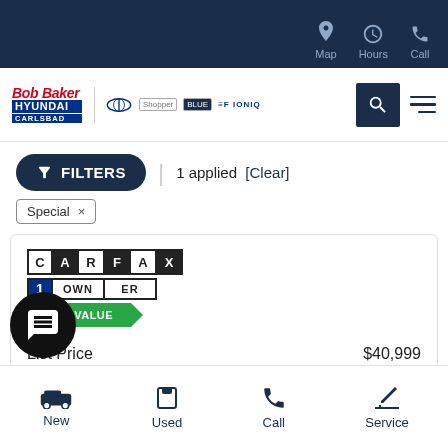Map  Hours  Call
[Figure (logo): Bob Baker Hyundai Carlsbad logo with Hyundai and IONIQ partner logos]
FILTERS  |  1 applied  [Clear]
Special ×
[Figure (logo): CARFAX 1 Owner badge and GOOD VALUE badge]
List Price  $40,999
nt Savings  - $4,368
New  Used  Call  Service